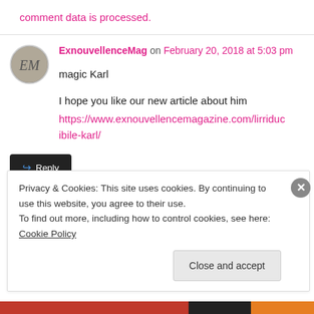comment data is processed.
ExnouvellenceMag on February 20, 2018 at 5:03 pm
magic Karl
I hope you like our new article about him
https://www.exnouvellencemagazine.com/lirriducibile-karl/
Reply
Privacy & Cookies: This site uses cookies. By continuing to use this website, you agree to their use.
To find out more, including how to control cookies, see here: Cookie Policy
Close and accept